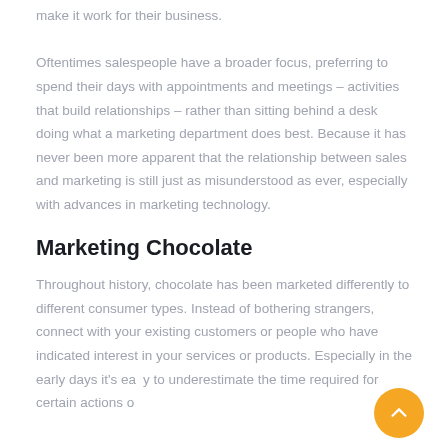make it work for their business.

Oftentimes salespeople have a broader focus, preferring to spend their days with appointments and meetings – activities that build relationships – rather than sitting behind a desk doing what a marketing department does best. Because it has never been more apparent that the relationship between sales and marketing is still just as misunderstood as ever, especially with advances in marketing technology.
Marketing Chocolate
Throughout history, chocolate has been marketed differently to different consumer types. Instead of bothering strangers, connect with your existing customers or people who have indicated interest in your services or products. Especially in the early days it's easy to underestimate the time required for certain actions of